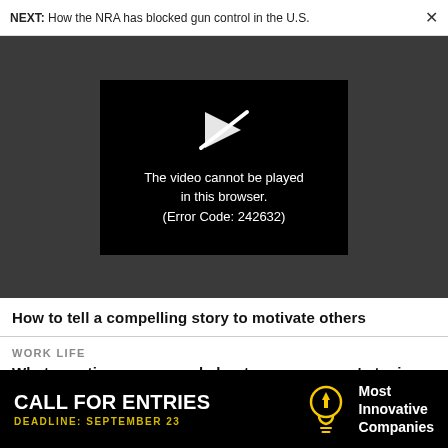NEXT: How the NRA has blocked gun control in the U.S.
[Figure (screenshot): Video player error screen on dark background showing a broken play icon and the message: The video cannot be played in this browser. (Error Code: 242632)]
How to tell a compelling story to motivate others
WORK LIFE
What vacations can reveal about your company's toxic culture
[Figure (infographic): Black advertisement banner reading CALL FOR ENTRIES, DEADLINE: SEPTEMBER 23, with a lightbulb icon and text Most Innovative Companies]